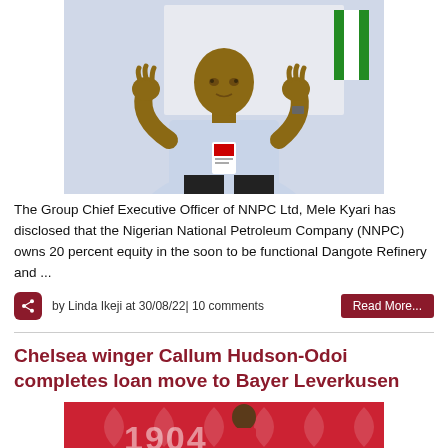[Figure (photo): The Group Chief Executive Officer of NNPC Ltd, Mele Kyari, shown from the chest up, gesturing with hands, wearing a light blue agbada, with an ID badge and watch visible, and a Nigerian flag in the background.]
The Group Chief Executive Officer of NNPC Ltd, Mele Kyari has disclosed that the Nigerian National Petroleum Company (NNPC) owns 20 percent equity in the soon to be functional Dangote Refinery and ...
by Linda Ikeji at 30/08/22| 10 comments
Chelsea winger Callum Hudson-Odoi completes loan move to Bayer Leverkusen
[Figure (photo): A football player in a red Bayer Leverkusen kit, photographed in front of a red background with the Bayer Leverkusen club logo/crest visible.]